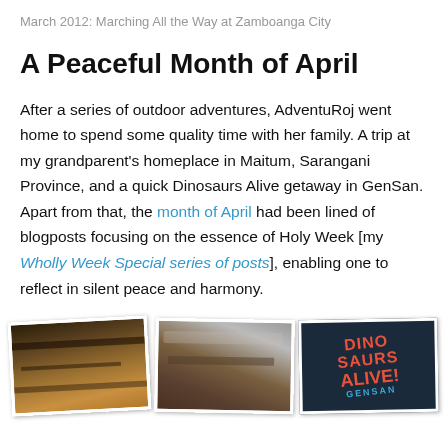March 2012: Marching All the Way at Zamboanga City
A Peaceful Month of April
After a series of outdoor adventures, AdventuRoj went home to spend some quality time with her family. A trip at my grandparent's homeplace in Maitum, Sarangani Province, and a quick Dinosaurs Alive getaway in GenSan. Apart from that, the month of April had been lined of blogposts focusing on the essence of Holy Week [my Wholly Week Special series of posts], enabling one to reflect in silent peace and harmony.
[Figure (photo): Three photos shown at bottom: indoor venue ceiling/structure, a rock or food item close-up, and a Dinosaurs Alive GenSan sign]